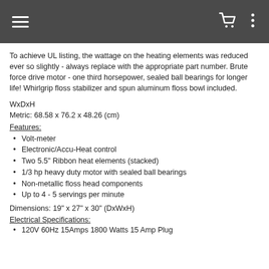Navigation header with hamburger menu, cart icon, and options icon
To achieve UL listing, the wattage on the heating elements was reduced ever so slightly - always replace with the appropriate part number. Brute force drive motor - one third horsepower, sealed ball bearings for longer life! Whirlgrip floss stabilizer and spun aluminum floss bowl included.
WxDxH
Metric: 68.58 x 76.2 x 48.26 (cm)
Features:
Volt-meter
Electronic/Accu-Heat control
Two 5.5" Ribbon heat elements (stacked)
1/3 hp heavy duty motor with sealed ball bearings
Non-metallic floss head components
Up to 4 - 5 servings per minute
Dimensions: 19" x 27" x 30" (DxWxH)
Electrical Specifications:
120V 60Hz 15Amps 1800 Watts 15 Amp Plug